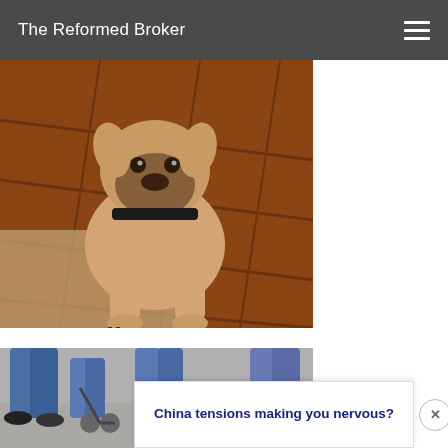The Reformed Broker
[Figure (photo): A boxer puppy sitting on a rug near hardwood flooring, wearing a black collar, looking upward]
[Figure (photo): Street scene showing legs and feet of pedestrians walking, one person with a striped bag]
China tensions making you nervous?